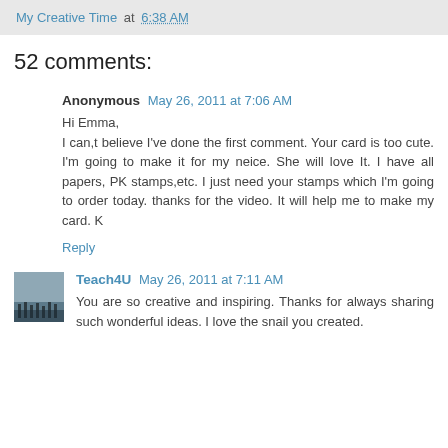My Creative Time at 6:38 AM
52 comments:
Anonymous May 26, 2011 at 7:06 AM
Hi Emma,
I can,t believe I've done the first comment. Your card is too cute. I'm going to make it for my neice. She will love It. I have all papers, PK stamps,etc. I just need your stamps which I'm going to order today. thanks for the video. It will help me to make my card. K
Reply
Teach4U May 26, 2011 at 7:11 AM
You are so creative and inspiring. Thanks for always sharing such wonderful ideas. I love the snail you created.